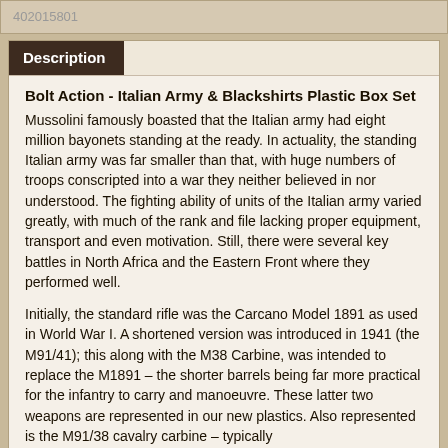402015801
Description
Bolt Action - Italian Army & Blackshirts Plastic Box Set
Mussolini famously boasted that the Italian army had eight million bayonets standing at the ready. In actuality, the standing Italian army was far smaller than that, with huge numbers of troops conscripted into a war they neither believed in nor understood. The fighting ability of units of the Italian army varied greatly, with much of the rank and file lacking proper equipment, transport and even motivation. Still, there were several key battles in North Africa and the Eastern Front where they performed well.
Initially, the standard rifle was the Carcano Model 1891 as used in World War I. A shortened version was introduced in 1941 (the M91/41); this along with the M38 Carbine, was intended to replace the M1891 – the shorter barrels being far more practical for the infantry to carry and manoeuvre. These latter two weapons are represented in our new plastics. Also represented is the M91/38 cavalry carbine – typically